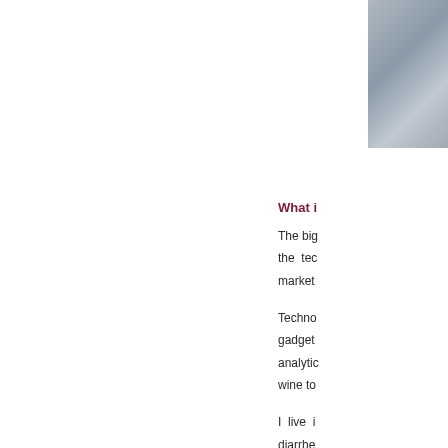[Figure (photo): Partial photo/image in the upper right corner of the page, showing a grey-blue textured surface.]
What i
The big
the tec
market
Techno
gadget
analytic
wine to
I live i
diarrhe